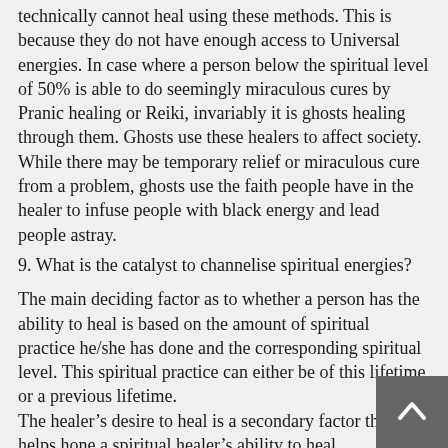A person who is below the spiritual level of 50% technically cannot heal using these methods. This is because they do not have enough access to Universal energies. In case where a person below the spiritual level of 50% is able to do seemingly miraculous cures by Pranic healing or Reiki, invariably it is ghosts healing through them. Ghosts use these healers to affect society. While there may be temporary relief or miraculous cure from a problem, ghosts use the faith people have in the healer to infuse people with black energy and lead people astray.
9. What is the catalyst to channelise spiritual energies?
The main deciding factor as to whether a person has the ability to heal is based on the amount of spiritual practice he/she has done and the corresponding spiritual level. This spiritual practice can either be of this lifetime or a previous lifetime.
The healer’s desire to heal is a secondary factor that helps hone a spiritual healer’s ability to heal.
10. How will one know if one needs spiritual healing at all?
Spiritual research conducted by the Spiritual Science